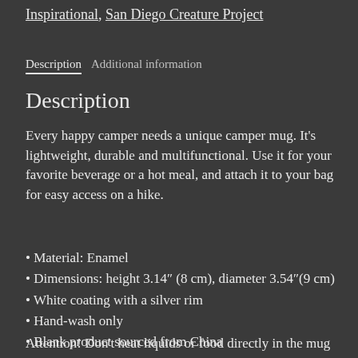Inspirational, San Diego Creature Project
Description | Additional information
Description
Every happy camper needs a unique camper mug. It's lightweight, durable and multifunctional. Use it for your favorite beverage or a hot meal, and attach it to your bag for easy access on a hike.
• Material: Enamel
• Dimensions: height 3.14″ (8 cm), diameter 3.54″(9 cm)
• White coating with a silver rim
• Hand-wash only
• Blank product sourced from China
Attention! Don't heat liquids or food directly in the mug—